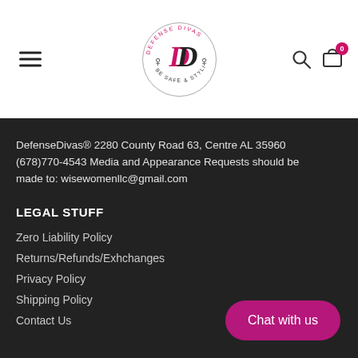[Figure (logo): Defense Divas circular logo with stylized DD initials and text 'BE SAFE & STYLISH']
DefenseDivas® 2280 County Road 63, Centre AL 35960 (678)770-4543 Media and Appearance Requests should be made to: wisewomenllc@gmail.com
LEGAL STUFF
Zero Liability Policy
Returns/Refunds/Exhchanges
Privacy Policy
Shipping Policy
Contact Us